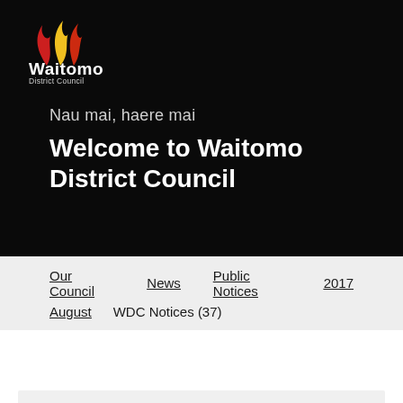[Figure (logo): Waitomo District Council logo with stylized red, yellow and white flame/feather motif above the text 'Waitomo District Council' in white]
Nau mai, haere mai
Welcome to Waitomo District Council
Our Council  News  Public Notices  2017  August  WDC Notices (37)